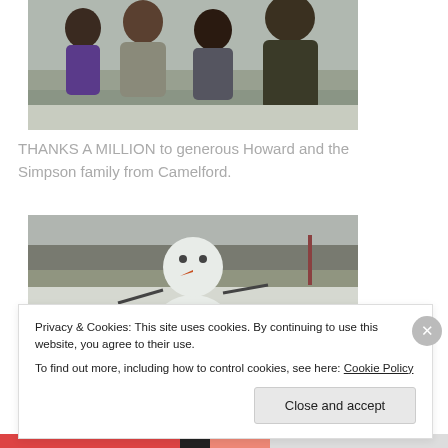[Figure (photo): Group of four people including a child and adults posing outdoors in winter/snowy setting]
THANKS A MILLION to generous Howard and the Simpson family from Camelford.
[Figure (photo): A snowman with carrot nose and stick arms in a snowy outdoor setting]
Privacy & Cookies: This site uses cookies. By continuing to use this website, you agree to their use.
To find out more, including how to control cookies, see here: Cookie Policy
Close and accept